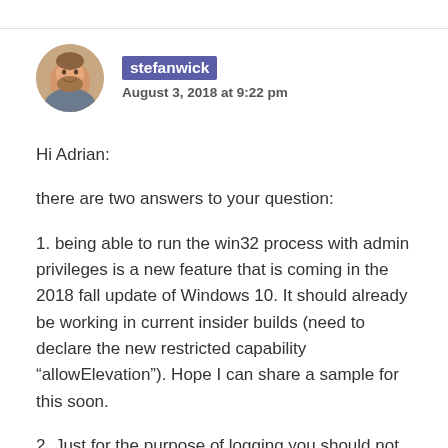[Figure (photo): Circular avatar photo of a man with beard, brown hair]
stefanwick
August 3, 2018 at 9:22 pm
Hi Adrian:
there are two answers to your question:
1. being able to run the win32 process with admin privileges is a new feature that is coming in the 2018 fall update of Windows 10. It should already be working in current insider builds (need to declare the new restricted capability “allowElevation”). Hope I can share a sample for this soon.
2. Just for the purpose of logging you should not be required to elevate. Not very familiar with Metrolog, but have you raised an issue with them? Note that